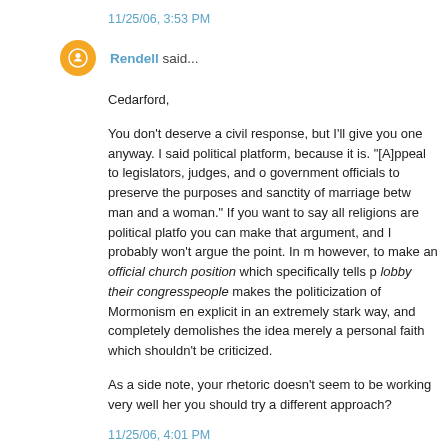11/25/06, 3:53 PM
Rendell said...
Cedarford,

You don't deserve a civil response, but I'll give you one anyway. I said political platform, because it is. "[A]ppeal to legislators, judges, and other government officials to preserve the purposes and sanctity of marriage between a man and a woman." If you want to say all religions are political platforms, you can make that argument, and I probably won't argue the point. In my view, however, to make an official church position which specifically tells people to lobby their congresspeople makes the politicization of Mormonism enormously explicit in an extremely stark way, and completely demolishes the idea that it is merely a personal faith which shouldn't be criticized.

As a side note, your rhetoric doesn't seem to be working very well here. Don't you think you should try a different approach?
11/25/06, 4:01 PM